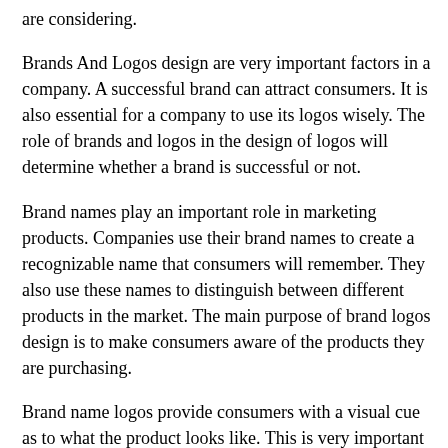are considering.
Brands And Logos design are very important factors in a company. A successful brand can attract consumers. It is also essential for a company to use its logos wisely. The role of brands and logos in the design of logos will determine whether a brand is successful or not.
Brand names play an important role in marketing products. Companies use their brand names to create a recognizable name that consumers will remember. They also use these names to distinguish between different products in the market. The main purpose of brand logos design is to make consumers aware of the products they are purchasing.
Brand name logos provide consumers with a visual cue as to what the product looks like. This is very important when